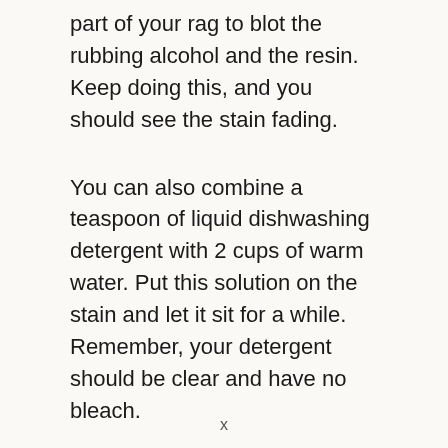part of your rag to blot the rubbing alcohol and the resin. Keep doing this, and you should see the stain fading.
You can also combine a teaspoon of liquid dishwashing detergent with 2 cups of warm water. Put this solution on the stain and let it sit for a while. Remember, your detergent should be clear and have no bleach.
x